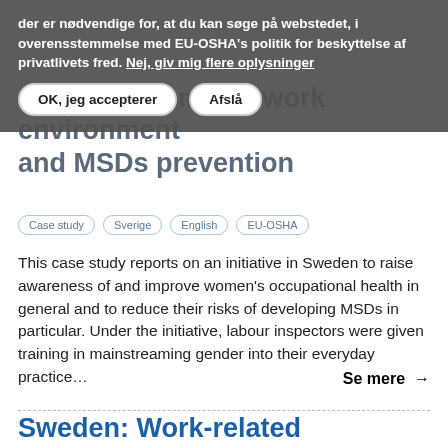[Figure (screenshot): Cookie consent overlay banner in Danish, with text about EU-OSHA privacy policy and two buttons: 'OK, jeg accepterer' and 'Afslå', plus a link 'Nej, giv mig flere oplysninger']
Sweden: Women's work environment and MSDs prevention
Case study
Sverige
English
EU-OSHA
This case study reports on an initiative in Sweden to raise awareness of and improve women's occupational health in general and to reduce their risks of developing MSDs in particular. Under the initiative, labour inspectors were given training in mainstreaming gender into their everyday practice…
Se mere →
Sweden: Work-related